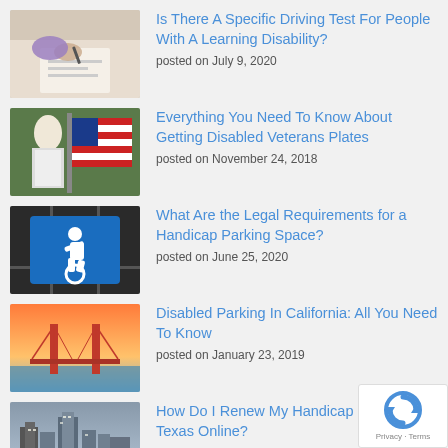[Figure (photo): Person writing with pen on paper, viewed from above]
Is There A Specific Driving Test For People With A Learning Disability?
posted on July 9, 2020
[Figure (photo): Person in uniform holding American flag]
Everything You Need To Know About Getting Disabled Veterans Plates
posted on November 24, 2018
[Figure (photo): Blue handicap parking sign on dark asphalt]
What Are the Legal Requirements for a Handicap Parking Space?
posted on June 25, 2020
[Figure (photo): Golden Gate Bridge at sunset]
Disabled Parking In California: All You Need To Know
posted on January 23, 2019
[Figure (photo): Aerial view of city with highway and river, cloudy sky]
How Do I Renew My Handicap Placard In Texas Online?
posted on July 23, 2021